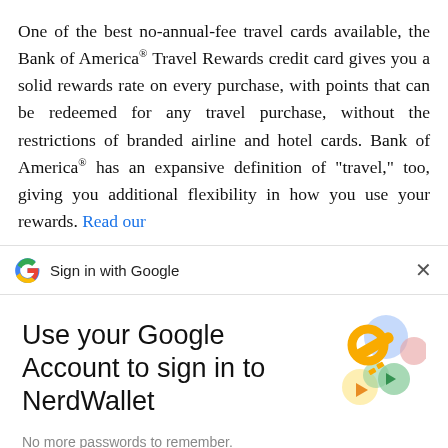One of the best no-annual-fee travel cards available, the Bank of America® Travel Rewards credit card gives you a solid rewards rate on every purchase, with points that can be redeemed for any travel purchase, without the restrictions of branded airline and hotel cards. Bank of America® has an expansive definition of "travel," too, giving you additional flexibility in how you use your rewards. Read our
[Figure (screenshot): Google Sign in with Google dialog bar with close X button]
Use your Google Account to sign in to NerdWallet
[Figure (illustration): Google account illustration with key and colorful circular shapes]
No more passwords to remember. Signing in is fast, simple and secure.
Continue